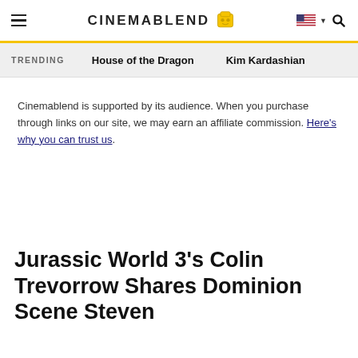CINEMABLEND
TRENDING   House of the Dragon   Kim Kardashian
Cinemablend is supported by its audience. When you purchase through links on our site, we may earn an affiliate commission. Here's why you can trust us.
Jurassic World 3's Colin Trevorrow Shares Dominion Scene Steven